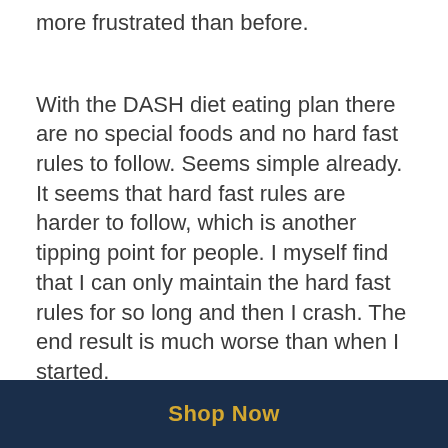more frustrated than before.
With the DASH diet eating plan there are no special foods and no hard fast rules to follow. Seems simple already. It seems that hard fast rules are harder to follow, which is another tipping point for people. I myself find that I can only maintain the hard fast rules for so long and then I crash. The end result is much worse than when I started.
The DASH eating plan is rich in fruits,
Shop Now